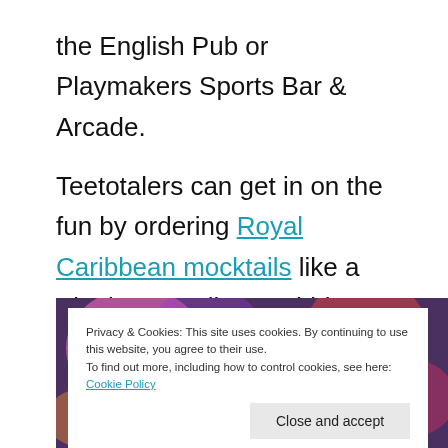the English Pub or Playmakers Sports Bar & Arcade.
Teetotalers can get in on the fun by ordering Royal Caribbean mocktails like a Blueberry Nojito or Shirley Ginger. Coffee drinks and other hot beverages are also available on Royal Caribbean cruises.
[Figure (photo): A colorful blurred background photo of drinks or party scene with a cookie consent banner overlay.]
Privacy & Cookies: This site uses cookies. By continuing to use this website, you agree to their use. To find out more, including how to control cookies, see here: Cookie Policy